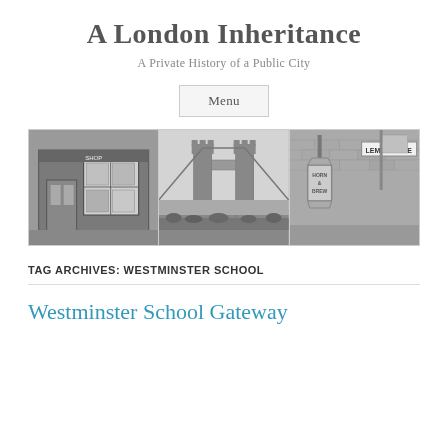A London Inheritance
A Private History of a Public City
Menu
[Figure (photo): Three black-and-white historical photographs of London: a shop front with display window on the left, Tower Bridge with crowd in the center, and a pub lamp sign with brick wall on the right.]
TAG ARCHIVES: WESTMINSTER SCHOOL
Westminster School Gateway